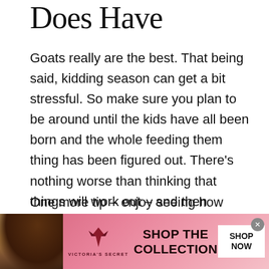Does Have
Goats really are the best. That being said, kidding season can get a bit stressful. So make sure you plan to be around until the kids have all been born and the whole feeding them thing has been figured out. There's nothing worse than thinking that things will work out – and then learning that they didn't.
One more tip – enjoy seeing how many kids your goats have. Because while blood tests and ultrasounds give you a pretty solid guess about the...
[Figure (photo): Victoria's Secret advertisement banner with a model, VS logo, 'SHOP THE COLLECTION' text, and 'SHOP NOW' button]